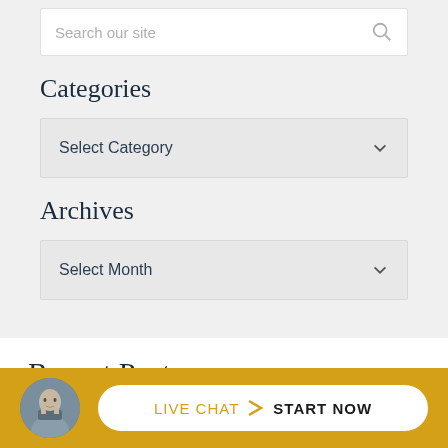Search our site
Categories
Select Category
Archives
Select Month
Recent Posts
LIVE CHAT  START NOW